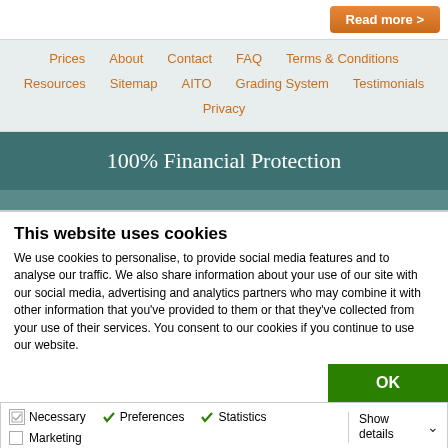Read more >
Prices
About
Contact
FAQ
Terms & Conditions
Resources
Sitemap
AITO
Grading System
Testimonials
Privacy
100% Financial Protection
This website uses cookies
We use cookies to personalise, to provide social media features and to analyse our traffic. We also share information about your use of our site with our social media, advertising and analytics partners who may combine it with other information that you've provided to them or that they've collected from your use of their services. You consent to our cookies if you continue to use our website.
OK
Necessary
Preferences
Statistics
Marketing
Show details